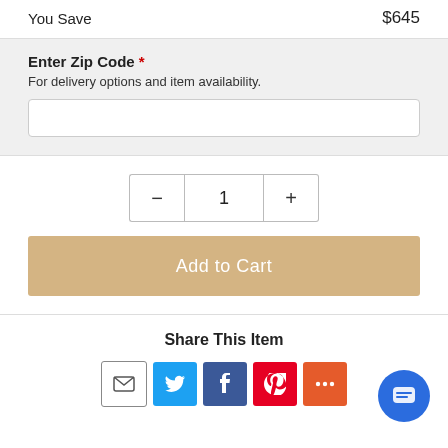You Save   $645
Enter Zip Code *
For delivery options and item availability.
[Figure (other): Zip code text input field]
[Figure (other): Quantity selector with minus, 1, plus buttons]
[Figure (other): Add to Cart button in tan/gold color]
Share This Item
[Figure (other): Social share icons: email, Twitter, Facebook, Pinterest, More]
[Figure (other): Chat button circle in bottom right corner]